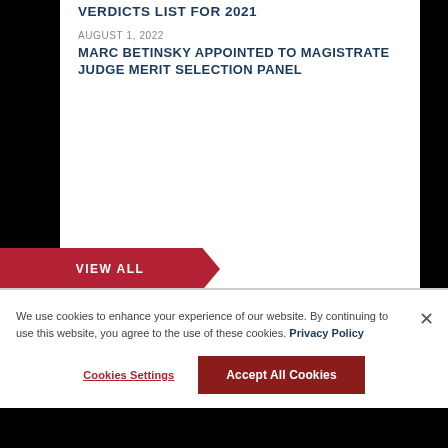VERDICTS LIST FOR 2021
AUGUST 1, 2022
MARC BETINSKY APPOINTED TO MAGISTRATE JUDGE MERIT SELECTION PANEL
VIEW ALL
We use cookies to enhance your experience of our website. By continuing to use this website, you agree to the use of these cookies. Privacy Policy
Cookies Settings
Accept All Cookies